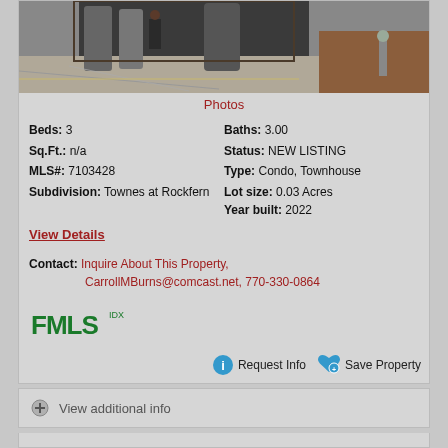[Figure (photo): Exterior/yard photo of property showing concrete surface, silos, and equipment]
Photos
Beds: 3   Baths: 3.00
Sq.Ft.: n/a   Status: NEW LISTING
MLS#: 7103428   Type: Condo, Townhouse
Subdivision: Townes at Rockfern   Lot size: 0.03 Acres
Year built: 2022
View Details
Contact: Inquire About This Property, CarrollMBurns@comcast.net, 770-330-0864
[Figure (logo): FMLS IDX logo]
Request Info   Save Property
View additional info